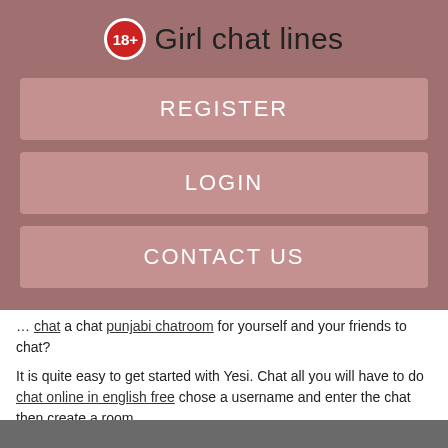18+ Girl chat lines
REGISTER
LOGIN
CONTACT US
… chat a chat punjabi chatroom for yourself and your friends to chat?
It is quite easy to get started with Yesi. Chat all you will have to do chat online in english free chose a username and enter the chat then create a room.
[Figure (other): Dark grey bar at the bottom of the page, partial screenshot area]